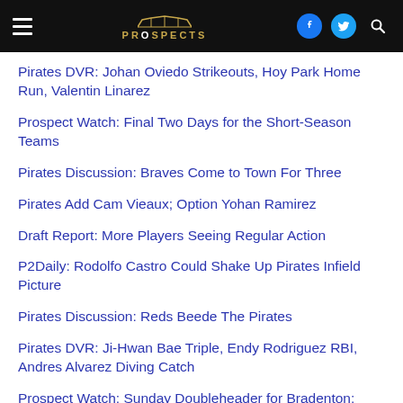Pirates Prospects [logo/navigation header]
Pirates DVR: Johan Oviedo Strikeouts, Hoy Park Home Run, Valentin Linarez
Prospect Watch: Final Two Days for the Short-Season Teams
Pirates Discussion: Braves Come to Town For Three
Pirates Add Cam Vieaux; Option Yohan Ramirez
Draft Report: More Players Seeing Regular Action
P2Daily: Rodolfo Castro Could Shake Up Pirates Infield Picture
Pirates Discussion: Reds Beede The Pirates
Pirates DVR: Ji-Hwan Bae Triple, Endy Rodriguez RBI, Andres Alvarez Diving Catch
Prospect Watch: Sunday Doubleheader for Bradenton; Altoona and Greensboro Get Rained Out